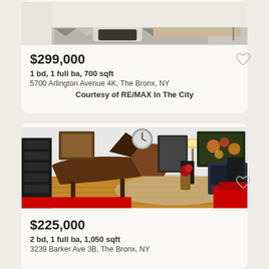[Figure (photo): Interior living room photo with sofa, coffee table, and geometric rug - partially visible at top]
$299,000
1 bd, 1 full ba, 700 sqft
5700 Arlington Avenue 4K, The Bronx, NY
Courtesy of RE/MAX In The City
[Figure (photo): Interior room photo featuring a grand piano, artwork on walls, red couch, and hardwood floor]
$225,000
2 bd, 1 full ba, 1,050 sqft
3239 Barker Ave 3B, The Bronx, NY